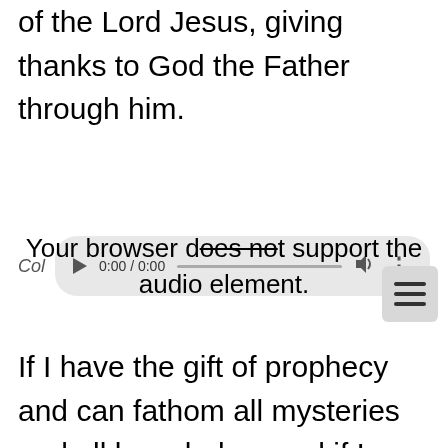of the Lord Jesus, giving thanks to God the Father through him.
[Figure (screenshot): Audio player UI with play button, 0:00 / 0:00 timestamp, progress bar, volume icon, and menu button. Label 'Col' appears to the left.]
Your browser does not support the audio element.
If I have the gift of prophecy and can fathom all mysteries and all knowledge, and if I have all faith, so as to move mountains, but do not have love, I am nothing. If I give all I